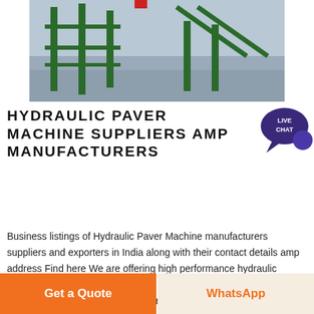[Figure (photo): Photograph of industrial hydraulic/construction equipment near a river, showing green metal scaffolding or paver machinery structure]
HYDRAULIC PAVER MACHINE SUPPLIERS AMP MANUFACTURERS
[Figure (illustration): Live Chat speech bubble badge with text LIVE CHAT in dark purple/navy]
Business listings of Hydraulic Paver Machine manufacturers suppliers and exporters in India along with their contact details amp address Find here We are offering high performance hydraulic paver and concrete machines that are very useful in the construction industry These machines are nbsp ...
[Figure (photo): Partially visible photo with light blue sky background, second product/equipment image]
[Figure (illustration): Blue square button with white arrow pointing upper-right (navigation/link arrow)]
Get a Quote
WhatsApp